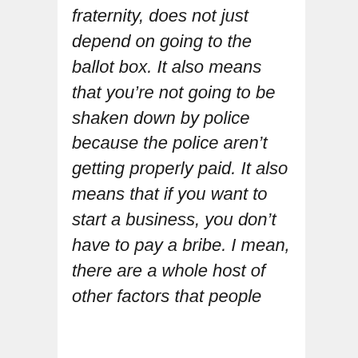fraternity, does not just depend on going to the ballot box. It also means that you're not going to be shaken down by police because the police aren't getting properly paid. It also means that if you want to start a business, you don't have to pay a bribe. I mean, there are a whole host of other factors that people